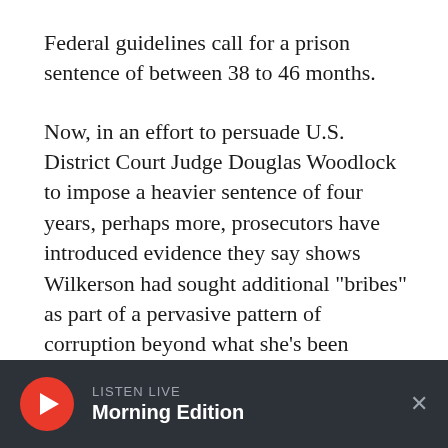Federal guidelines call for a prison sentence of between 38 to 46 months.
Now, in an effort to persuade U.S. District Court Judge Douglas Woodlock to impose a heavier sentence of four years, perhaps more, prosecutors have introduced evidence they say shows Wilkerson had sought additional "bribes" as part of a pervasive pattern of corruption beyond what she's been charged.
On the stand Wednesday was Azid Mohammed, the Dorchester owner of a construction company. During the time in question, he was trying to
[Figure (screenshot): Bottom bar media player with red circular play button, LISTEN LIVE label, Morning Edition text, and close X button on dark background]